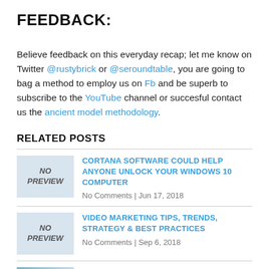FEEDBACK:
Believe feedback on this everyday recap; let me know on Twitter @rustybrick or @seroundtable, you are going to bag a method to employ us on Fb and be superb to subscribe to the YouTube channel or succesful contact us the ancient model methodology.
RELATED POSTS
CORTANA SOFTWARE COULD HELP ANYONE UNLOCK YOUR WINDOWS 10 COMPUTER
No Comments | Jun 17, 2018
VIDEO MARKETING TIPS, TRENDS, STRATEGY & BEST PRACTICES
No Comments | Sep 6, 2018
REPORT: 'INCENTIVIZED REVIEWS' EFFECTIVE FOR